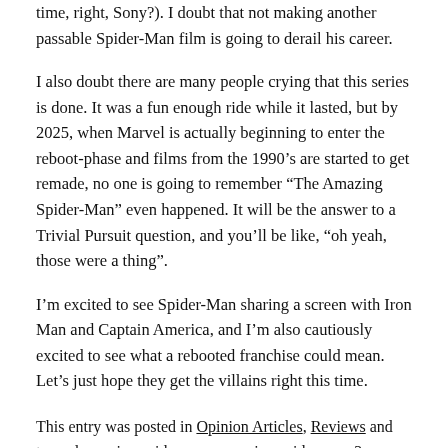time, right, Sony?). I doubt that not making another passable Spider-Man film is going to derail his career.
I also doubt there are many people crying that this series is done. It was a fun enough ride while it lasted, but by 2025, when Marvel is actually beginning to enter the reboot-phase and films from the 1990's are started to get remade, no one is going to remember “The Amazing Spider-Man” even happened. It will be the answer to a Trivial Pursuit question, and you’ll be like, “oh yeah, those were a thing”.
I’m excited to see Spider-Man sharing a screen with Iron Man and Captain America, and I’m also cautiously excited to see what a rebooted franchise could mean. Let’s just hope they get the villains right this time.
This entry was posted in Opinion Articles, Reviews and tagged amazing spider-man, amazing spider-man 2, andrew Garfield, avengers, civil war, deal, details, marvel, reboot, rumors, sequel,